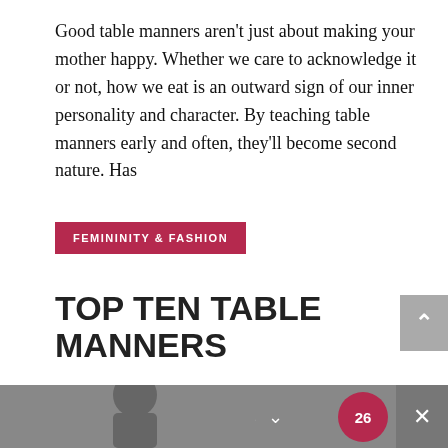Good table manners aren't just about making your mother happy. Whether we care to acknowledge it or not, how we eat is an outward sign of our inner personality and character. By teaching table manners early and often, they'll become second nature. Has
FEMININITY & FASHION
TOP TEN TABLE MANNERS
Colleen Hammond   4 Comments
[Figure (photo): Partial view of a person (bottom of page dark bar area), Share This button with chevron, red circle badge with number 26, and close button.]